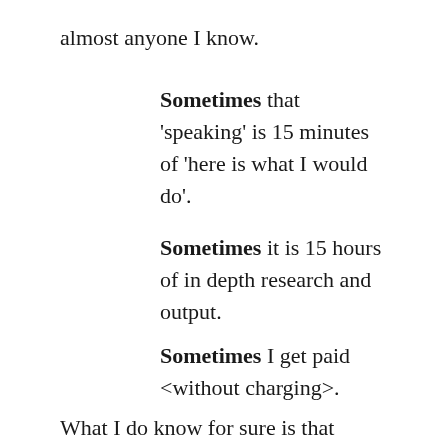almost anyone I know.
Sometimes that 'speaking' is 15 minutes of 'here is what I would do'.
Sometimes it is 15 hours of in depth research and output.
Sometimes I get paid <without charging>.
What I do know for sure is that opening my email inbox every morning is fun and